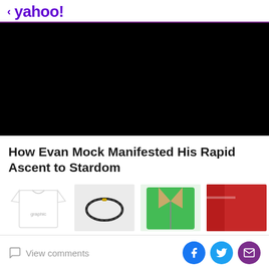< yahoo!
[Figure (other): Black video player rectangle, no visible content]
How Evan Mock Manifested His Rapid Ascent to Stardom
[Figure (photo): Row of four product thumbnail images: white graphic t-shirt, black chain necklace on grey background, green jacket collar detail, partial red item]
View comments